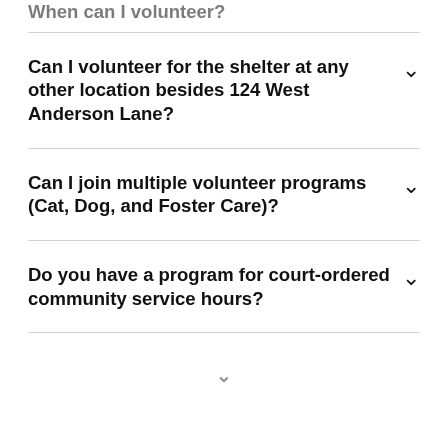When can I volunteer?
Can I volunteer for the shelter at any other location besides 124 West Anderson Lane?
Can I join multiple volunteer programs (Cat, Dog, and Foster Care)?
Do you have a program for court-ordered community service hours?